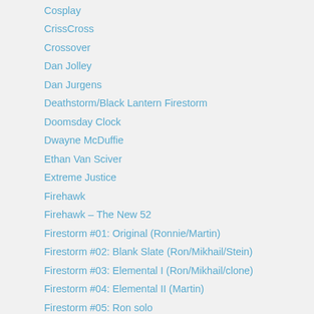Cosplay
CrissCross
Crossover
Dan Jolley
Dan Jurgens
Deathstorm/Black Lantern Firestorm
Doomsday Clock
Dwayne McDuffie
Ethan Van Sciver
Extreme Justice
Firehawk
Firehawk – The New 52
Firestorm #01: Original (Ronnie/Martin)
Firestorm #02: Blank Slate (Ron/Mikhail/Stein)
Firestorm #03: Elemental I (Ron/Mikhail/clone)
Firestorm #04: Elemental II (Martin)
Firestorm #05: Ron solo
Firestorm #06: Jason beginner
Firestorm #07: Jason post-Infinite Crisis
Firestorm #08: Brightest Day (Ronnie/Jason)
Firestorm #09: New 52 v1 (Firestorm Protocols)
Firestorm #10: New 52 v2 (Ronnie/Jason)
Firestorm #11: Legends of Tomorrow comic (Ronnie/Stein)